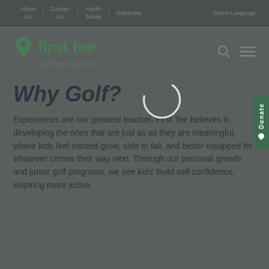About Us | Contact Us | Youth Safety | Subscribe | Select Language
[Figure (logo): First Tee Southeast Wisconsin logo — green location pin icon followed by 'first tee' in bold green text, with 'southeast wisconsin' subtitle]
Why Golf?
Experiences are our greatest teacher. First Tee believes in developing the ones that are just as as they are meaningful, where kids feel excited grow, safe to fail, and better equipped for whatever comes their way next. Through our personal growth and junior golf programs, we see kids' build self confidence, inspiring more active